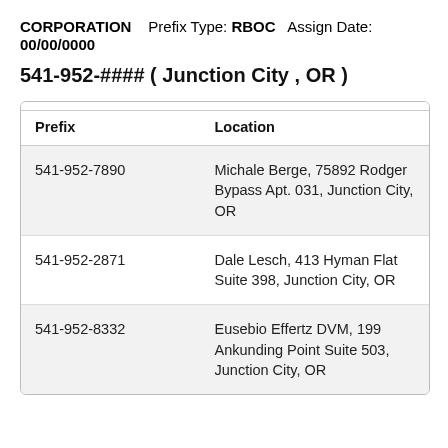CORPORATION    Prefix Type: RBOC    Assign Date: 00/00/0000
541-952-#### ( Junction City , OR )
| Prefix | Location |
| --- | --- |
| 541-952-7890 | Michale Berge, 75892 Rodger Bypass Apt. 031, Junction City, OR |
| 541-952-2871 | Dale Lesch, 413 Hyman Flat Suite 398, Junction City, OR |
| 541-952-8332 | Eusebio Effertz DVM, 199 Ankunding Point Suite 503, Junction City, OR |